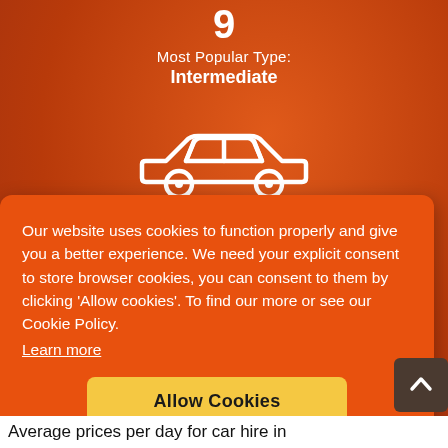9
Most Popular Type:
Intermediate
[Figure (illustration): White line-art icon of a sedan car on orange blurred background]
2
Our website uses cookies to function properly and give you a better experience. We need your explicit consent to store browser cookies, you can consent to them by clicking 'Allow cookies'. To find our more or see our Cookie Policy.
Learn more
Allow Cookies
Average prices per day for car hire in